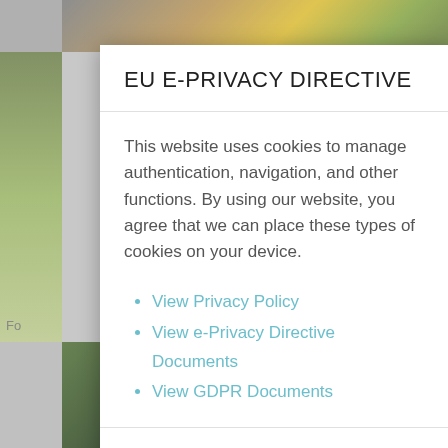EU E-PRIVACY DIRECTIVE
This website uses cookies to manage authentication, navigation, and other functions. By using our website, you agree that we can place these types of cookies on your device.
View Privacy Policy
View e-Privacy Directive Documents
View GDPR Documents
I agree
I decline